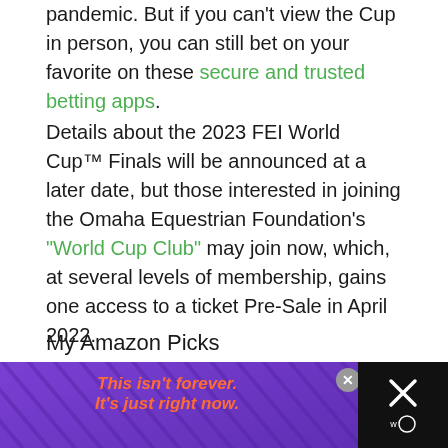pandemic. But if you can't view the Cup in person, you can still bet on your favorite on these secure and trusted betting apps.
Details about the 2023 FEI World Cup™ Finals will be announced at a later date, but those interested in joining the Omaha Equestrian Foundation's "World Cup Club" may join now, which, at several levels of membership, gains one access to a ticket Pre-Sale in April 2022.
My Amazon Picks
[Figure (other): Three book covers displayed side by side: a red 'Show Strides' book, a yellow 'Show Strides' book, and a green equestrian book titled 'Gone Till on Riding Hunters, Jumpers and Equitation']
[Figure (other): Advertisement banner with purple background and diagonal stripe pattern, orange italic text reading 'This isn't forever. It's just right now.' with a close button]